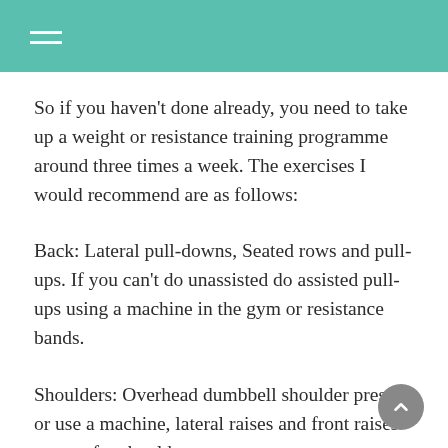So if you haven't done already, you need to take up a weight or resistance training programme around three times a week. The exercises I would recommend are as follows:
Back: Lateral pull-downs, Seated rows and pull-ups. If you can't do unassisted do assisted pull-ups using a machine in the gym or resistance bands.
Shoulders: Overhead dumbbell shoulder press or use a machine, lateral raises and front raises or post for shoulders.